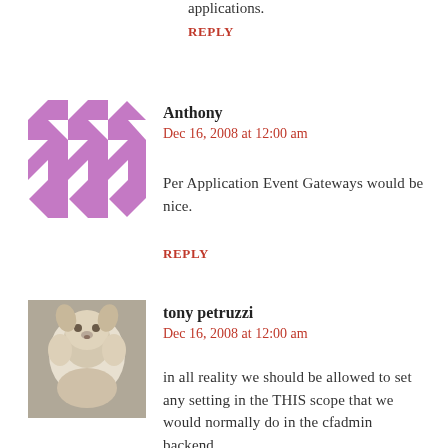applications.
REPLY
Anthony
Dec 16, 2008 at 12:00 am
Per Application Event Gateways would be nice.
REPLY
[Figure (photo): Tony petruzzi avatar photo showing a small fluffy dog]
tony petruzzi
Dec 16, 2008 at 12:00 am
in all reality we should be allowed to set any setting in the THIS scope that we would normally do in the cfadmin backend.